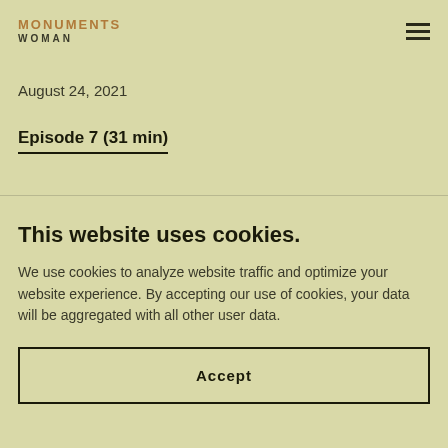not far from Kabul, George suggests a motto for Argentina's tourism industry.
MONUMENTS WOMAN
August 24, 2021
Episode 7 (31 min)
This website uses cookies.
We use cookies to analyze website traffic and optimize your website experience. By accepting our use of cookies, your data will be aggregated with all other user data.
Accept